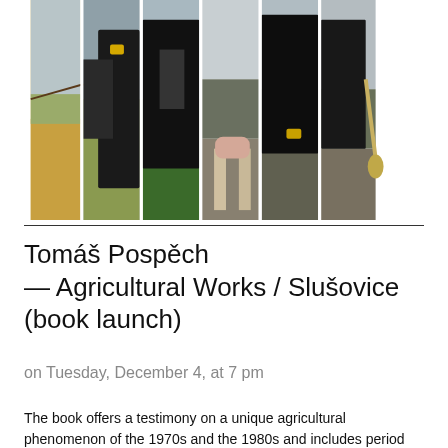[Figure (photo): A composite strip image of a black-and-white dairy cow, split into multiple vertical segments showing different parts of the cow against various outdoor/rural backgrounds, with white gaps between segments.]
Tomáš Pospěch — Agricultural Works / Slušovice (book launch)
on Tuesday, December 4, at 7 pm
The book offers a testimony on a unique agricultural phenomenon of the 1970s and the 1980s and includes period propaganda